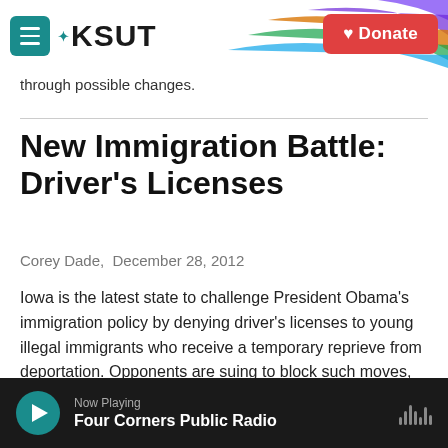KSUT
through possible changes.
New Immigration Battle: Driver's Licenses
Corey Dade, December 28, 2012
Iowa is the latest state to challenge President Obama's immigration policy by denying driver's licenses to young illegal immigrants who receive a temporary reprieve from deportation. Opponents are suing to block such moves, saying they violate federal law.
Now Playing Four Corners Public Radio